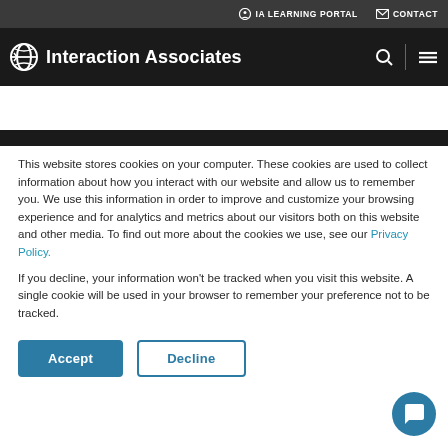IA LEARNING PORTAL   CONTACT
Interaction Associates
This website stores cookies on your computer. These cookies are used to collect information about how you interact with our website and allow us to remember you. We use this information in order to improve and customize your browsing experience and for analytics and metrics about our visitors both on this website and other media. To find out more about the cookies we use, see our Privacy Policy.
If you decline, your information won't be tracked when you visit this website. A single cookie will be used in your browser to remember your preference not to be tracked.